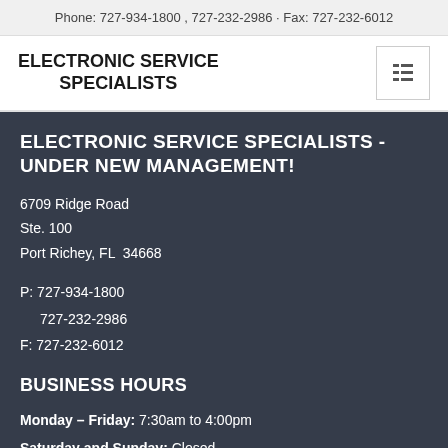Phone: 727-934-1800 , 727-232-2986 · Fax: 727-232-6012
ELECTRONIC SERVICE SPECIALISTS
ELECTRONIC SERVICE SPECIALISTS - UNDER NEW MANAGEMENT!
6709 Ridge Road
Ste. 100
Port Richey, FL  34668
P: 727-934-1800
   727-232-2986
F: 727-232-6012
BUSINESS HOURS
Monday – Friday: 7:30am to 4:00pm
Saturday and Sunday: Closed
PAGES